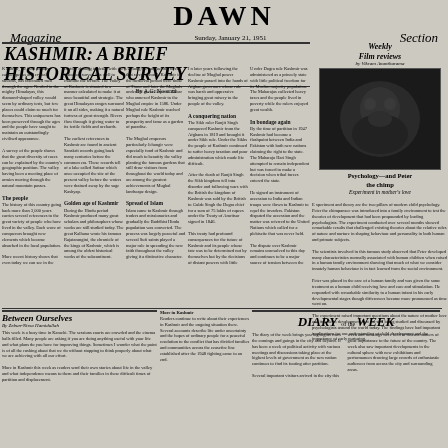DAWN
Magazine   Sunday, January 21, 1951   Section
KASHMIR: A BRIEF HISTORICAL SURVEY
By A.G. Noorani — Multi-column article about Kashmir's history covering The people, Golden age of Kashmir, Spread of Islam, A conquering nation, In bondage again sections
Weekly Film reviews
By Vikram Anantharama
[Figure (photo): Black and white photograph of a chimpanzee with a human, illustrating the psychology experiment article]
Psychology—and Peter the chimp
Experiment in mother's love
Psychology article text about experiment in mother's love with Peter the chimp
Between Ourselves
By Zebun-Nissa Hamidullah — column text
More in Kashmir
DIARY of the WEEK
Diary of the week column text